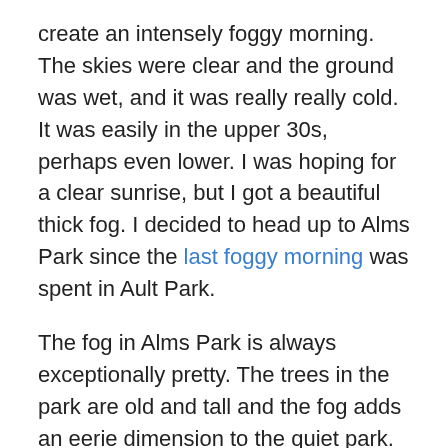create an intensely foggy morning. The skies were clear and the ground was wet, and it was really really cold. It was easily in the upper 30s, perhaps even lower. I was hoping for a clear sunrise, but I got a beautiful thick fog. I decided to head up to Alms Park since the last foggy morning was spent in Ault Park.
The fog in Alms Park is always exceptionally pretty. The trees in the park are old and tall and the fog adds an eerie dimension to the quiet park.
I didn't end up seeing a sunrise, but I did have the morning coffee in the fog and ventured down into the forest in an attempt to find an old secret “party area” that I found last year. I didn't succeed, but I did find the entrance to the trail. It's hard to follow, though, with all the leaves that are still on the trees. I'll try again this winter perhaps ;).